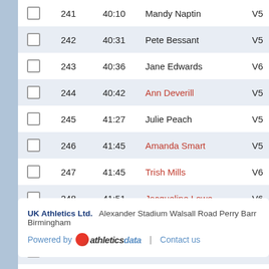|  | 241 | 40:10 | Mandy Naptin | V5 |
| --- | --- | --- | --- | --- |
|  | 241 | 40:10 | Mandy Naptin | V5 |
|  | 242 | 40:31 | Pete Bessant | V5 |
|  | 243 | 40:36 | Jane Edwards | V6 |
|  | 244 | 40:42 | Ann Deverill | V5 |
|  | 245 | 41:27 | Julie Peach | V5 |
|  | 246 | 41:45 | Amanda Smart | V5 |
|  | 247 | 41:45 | Trish Mills | V6 |
|  | 248 | 41:51 | Jacqueline Lowe | V6 |
|  | 249 | 41:57 | Georgia Hazell | SE |
|  | 250 | 43:20 | Karen Roberts | V5 |
Page: 1 2
UK Athletics Ltd.  Alexander Stadium Walsall Road Perry Barr Birmingham
Powered by athleticsdata | Contact us